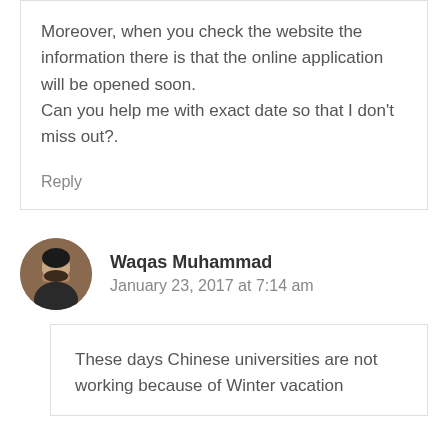Moreover, when you check the website the information there is that the online application will be opened soon.
Can you help me with exact date so that I don't miss out?.
Reply
Waqas Muhammad
January 23, 2017 at 7:14 am
These days Chinese universities are not working because of Winter vacation